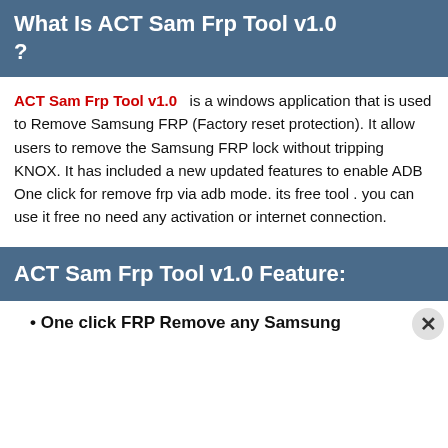What Is ACT Sam Frp Tool v1.0?
ACT Sam Frp Tool v1.0 is a windows application that is used to Remove Samsung FRP (Factory reset protection). It allow users to remove the Samsung FRP lock without tripping KNOX. It has included a new updated features to enable ADB One click for remove frp via adb mode. its free tool . you can use it free no need any activation or internet connection.
ACT Sam Frp Tool v1.0 Feature:
One click FRP Remove any Samsung